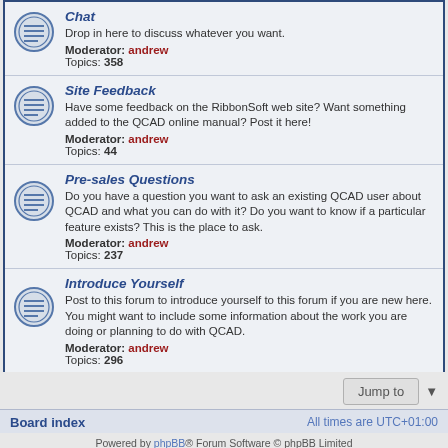Chat — Drop in here to discuss whatever you want. Moderator: andrew Topics: 358
Site Feedback — Have some feedback on the RibbonSoft web site? Want something added to the QCAD online manual? Post it here! Moderator: andrew Topics: 44
Pre-sales Questions — Do you have a question you want to ask an existing QCAD user about QCAD and what you can do with it? Do you want to know if a particular feature exists? This is the place to ask. Moderator: andrew Topics: 237
Introduce Yourself — Post to this forum to introduce yourself to this forum if you are new here. You might want to include some information about the work you are doing or planning to do with QCAD. Moderator: andrew Topics: 296
Board index   All times are UTC+01:00
Powered by phpBB® Forum Software © phpBB Limited
Time: 0.052s | Queries: 11 | Peak Memory Usage: 2.39 MiB